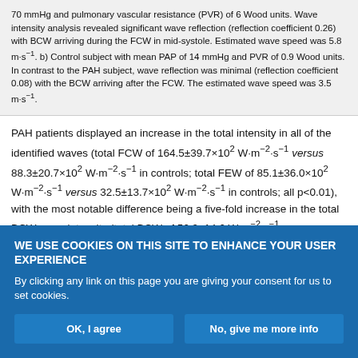70 mmHg and pulmonary vascular resistance (PVR) of 6 Wood units. Wave intensity analysis revealed significant wave reflection (reflection coefficient 0.26) with BCW arriving during the FCW in mid-systole. Estimated wave speed was 5.8 m·s⁻¹. b) Control subject with mean PAP of 14 mmHg and PVR of 0.9 Wood units. In contrast to the PAH subject, wave reflection was minimal (reflection coefficient 0.08) with the BCW arriving after the FCW. The estimated wave speed was 3.5 m·s⁻¹.
PAH patients displayed an increase in the total intensity in all of the identified waves (total FCW of 164.5±39.7×10² W·m⁻²·s⁻¹ versus 88.3±20.7×10² W·m⁻²·s⁻¹ in controls; total FEW of 85.1±36.0×10² W·m⁻²·s⁻¹ versus 32.5±13.7×10² W·m⁻²·s⁻¹ in controls; all p<0.01), with the most notable difference being a five-fold increase in the total BCW wave intensity (total BCW of 56.9±14.6 W·m⁻²·s⁻¹ versus
WE USE COOKIES ON THIS SITE TO ENHANCE YOUR USER EXPERIENCE
By clicking any link on this page you are giving your consent for us to set cookies.